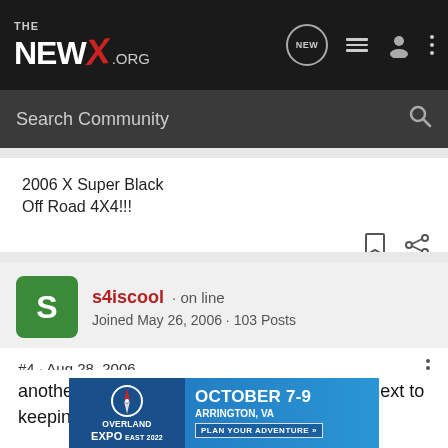THE NEWX.ORG — navigation header with search bar
2006 X Super Black
Off Road 4X4!!!
s4iscool · on line
Joined May 26, 2006 · 103 Posts
#4 · Aug 28, 2006
another NO, IMO they are the tackiest thing next to keeping the plastic on furniture....
[Figure (screenshot): Overland Expo East 2022 advertisement banner. Text reads: OVERLAND EXPO EAST 2022, OCTOBER 7-9, ARRINGTON, VA, PLAN YOUR ADVENTURE »]